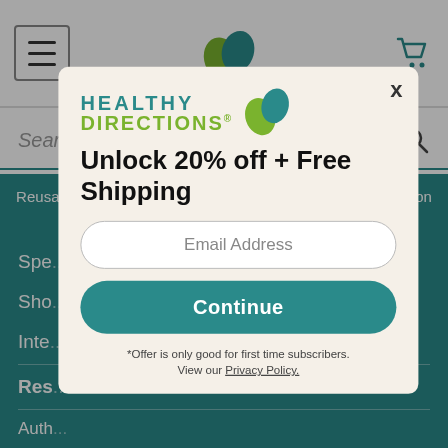Navigation bar with hamburger menu, Healthy Directions leaf logo, and cart icon
Search for Products
Reusable Savings! Use Promo Code TAKEFIVE to save $5 on orders all summer long! | Shop Now
Spe...
Sho...
Inte...
Res...
Auth...
FAQ...
Arti...
Pod...
New...
[Figure (screenshot): Healthy Directions popup modal with logo, Unlock 20% off + Free Shipping offer, email input field, Continue button, and fine print about subscribers and Privacy Policy]
Unlock 20% off + Free Shipping
Email Address
Continue
*Offer is only good for first time subscribers.
View our Privacy Policy.